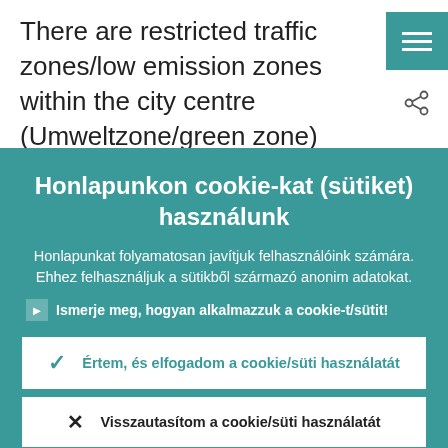There are restricted traffic zones/low emission zones within the city centre (Umweltzone/green zone) where only cars having specific environmental
Honlapunkon cookie-kat (sütiket) használunk
Honlapunkat folyamatosan javítjuk felhasználóink számára. Ehhez felhasználjuk a sütikből származó anonim adatokat.
Ismerje meg, hogyan alkalmazzuk a cookie-t/sütit!
Értem, és elfogadom a cookie/süti használatát
Visszautasítom a cookie/süti használatát